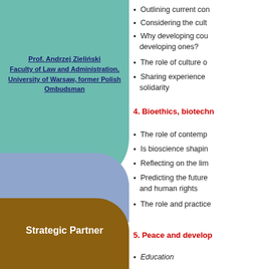[Figure (illustration): Left panel with teal, blue-purple, and brown decorative shapes stacked vertically]
Prof. Andrzej Zieliński
Faculty of Law and Administration, University of Warsaw, former Polish Ombudsman
Strategic Partner
Outlining current con
Considering the cult
Why developing cou developing ones?
The role of culture o
Sharing experience solidarity
4. Bioethics, biotechn
The role of contemp
Is bioscience shapin
Reflecting on the lim
Predicting the future and human rights
The role and practice
5. Peace and develop
• Education